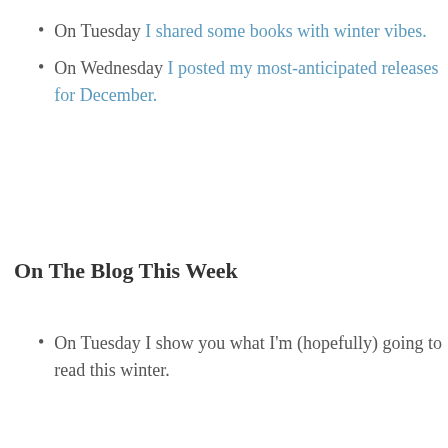On Tuesday I shared some books with winter vibes.
On Wednesday I posted my most-anticipated releases for December.
On The Blog This Week
On Tuesday I show you what I'm (hopefully) going to read this winter.